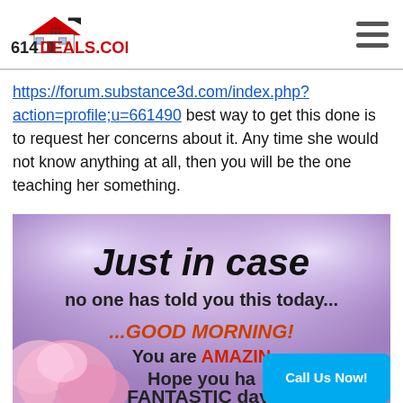614DEALS.COM
https://forum.substance3d.com/index.php?action=profile;u=661490 best way to get this done is to request her concerns about it. Any time she would not know anything at all, then you will be the one teaching her something.
[Figure (photo): Motivational image with text 'Just in case no one has told you this today... GOOD MORNING! You are AMAZING Hope you ha... FANTASTIC day!' on a purple/pink floral background. A blue 'Call Us Now!' button overlays the bottom right.]